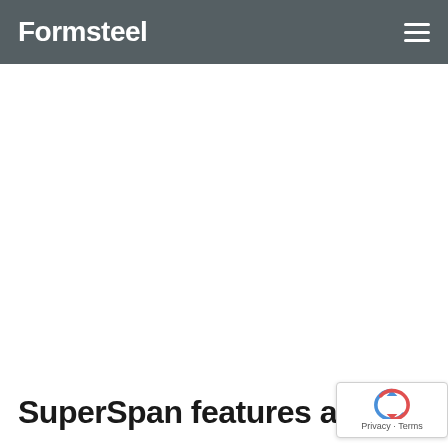Formsteel
SuperSpan features and bene